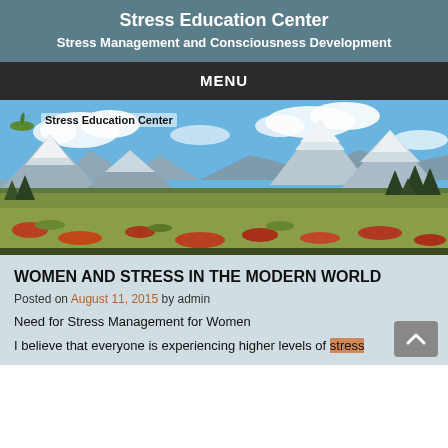Stress Education Center
Stress Management and Consciousness Development
MENU
[Figure (photo): Mountain landscape banner with blue sky, snow-capped peaks, alpine meadows with red/orange wildflowers, and evergreen trees. Stress Education Center logo overlaid in upper left.]
WOMEN AND STRESS IN THE MODERN WORLD
Posted on August 11, 2015 by admin
Need for Stress Management for Women
I believe that everyone is experiencing higher levels of stress